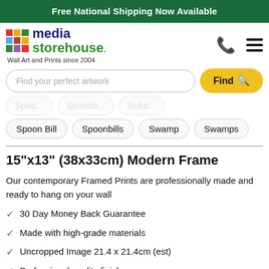Free National Shipping Now Available
[Figure (logo): Media Storehouse logo with colorful grid squares and text 'media storehouse. Wall Art and Prints since 2004']
Find your perfect artwork
Spoon Bill
Spoonbills
Swamp
Swamps
15"x13" (38x33cm) Modern Frame
Our contemporary Framed Prints are professionally made and ready to hang on your wall
30 Day Money Back Guarantee
Made with high-grade materials
Uncropped Image 21.4 x 21.4cm (est)
Professional quality finish